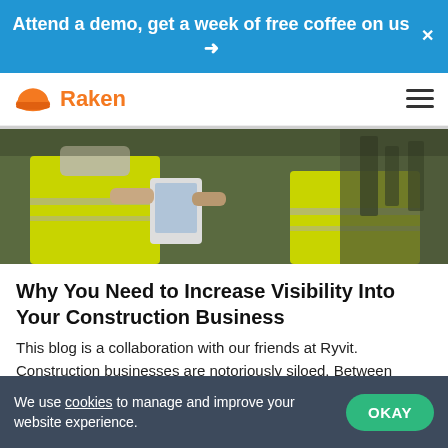Attend a demo, get a week of free coffee on us →
[Figure (logo): Raken orange hard hat logo with orange text 'Raken' and hamburger menu icon]
[Figure (photo): Two construction workers in yellow high-visibility vests, one holding a tablet, standing in an industrial setting]
Why You Need to Increase Visibility Into Your Construction Business
This blog is a collaboration with our friends at Ryvit. Construction businesses are notoriously siloed. Between contractors, subcontractors, suppliers, workers, and office...
We use cookies to manage and improve your website experience.